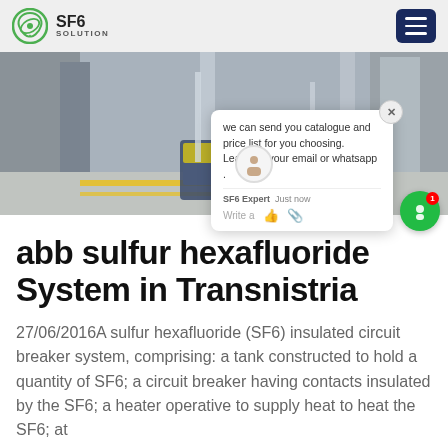SF6 SOLUTION
[Figure (photo): Industrial electrical substation interior showing SF6 circuit breaker equipment and a portable testing device with yellow lid on a yellow-striped floor. A chat popup overlay is visible with text: 'we can send you catalogue and price list for you choosing. Leave us your email or whatsapp .']
abb sulfur hexafluoride System in Transnistria
27/06/2016A sulfur hexafluoride (SF6) insulated circuit breaker system, comprising: a tank constructed to hold a quantity of SF6; a circuit breaker having contacts insulated by the SF6; a heater operative to supply heat to heat the SF6; at